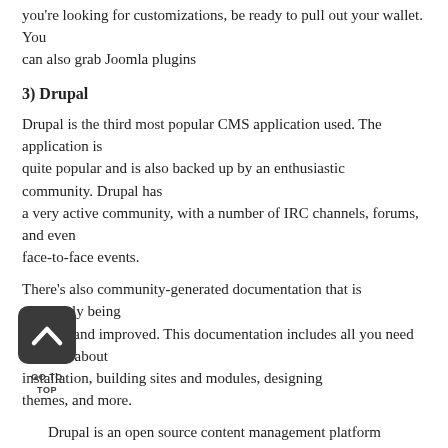you're looking for customizations, be ready to pull out your wallet. You can also grab Joomla plugins
3) Drupal
Drupal is the third most popular CMS application used. The application is quite popular and is also backed up by an enthusiastic community. Drupal has a very active community, with a number of IRC channels, forums, and even face-to-face events.
There's also community-generated documentation that is constantly being updated and improved. This documentation includes all you need to know about installation, building sites and modules, designing themes, and more.
Drupal is an open source content management platform powering millions of websites and applications. It's built, used, and supported